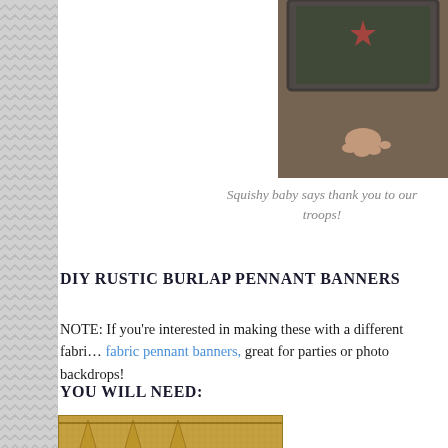[Figure (photo): Partial view of a baby holding a framed chalkboard sign, photographed against a brownish background. Only the top portion is visible.]
Squishy baby says thank you to our troops!
DIY RUSTIC BURLAP PENNANT BANNERS
NOTE: If you're interested in making these with a different fabri… fabric pennant banners, great for parties or photo backdrops!
YOU WILL NEED:
[Figure (photo): Close-up photo of burlap fabric material with pennant shapes, in a tan/golden color. Partial view showing stacked triangular pennant pieces.]